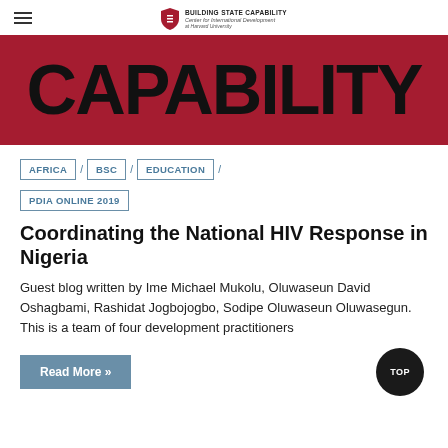BUILDING STATE CAPABILITY — Center for International Development at Harvard University
[Figure (illustration): Dark red/crimson banner with large bold black uppercase text reading CAPABILITY]
AFRICA
BSC
EDUCATION
PDIA ONLINE 2019
Coordinating the National HIV Response in Nigeria
Guest blog written by Ime Michael Mukolu, Oluwaseun David Oshagbami, Rashidat Jogbojogbo, Sodipe Oluwaseun Oluwasegun. This is a team of four development practitioners